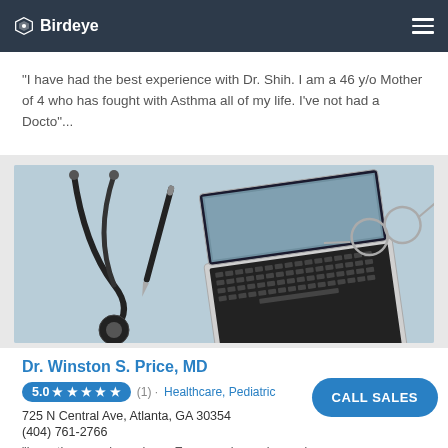Birdeye
"I have had the best experience with Dr. Shih. I am a 46 y/o Mother of 4 who has fought with Asthma all of my life. I've not had a Docto"...
[Figure (photo): Medical items on a light blue background: stethoscope, pen, open laptop, and glasses]
Dr. Winston S. Price, MD
5.0 ★★★★★ (1) · Healthcare, Pediatric...
725 N Central Ave, Atlanta, GA 30354
(404) 761-2766
"Love the experience here. Everyone is so nice and